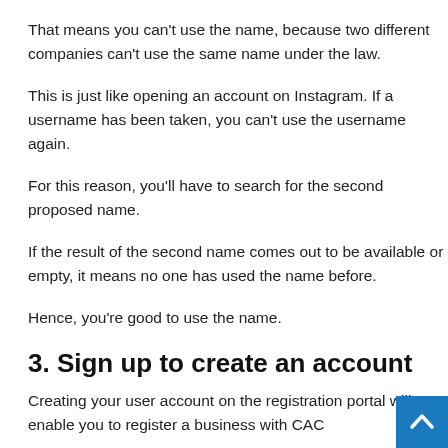That means you can't use the name, because two different companies can't use the same name under the law.
This is just like opening an account on Instagram. If a username has been taken, you can't use the username again.
For this reason, you'll have to search for the second proposed name.
If the result of the second name comes out to be available or empty, it means no one has used the name before.
Hence, you're good to use the name.
3. Sign up to create an account
Creating your user account on the registration portal will enable you to register a business with CAC...